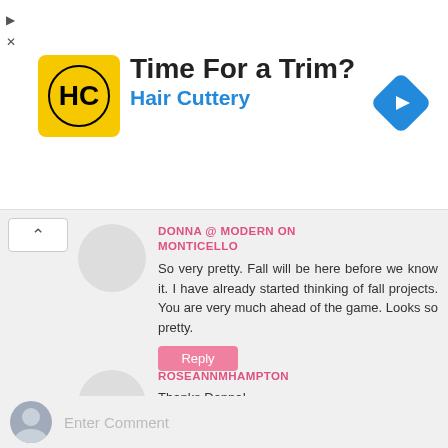[Figure (other): Hair Cuttery advertisement banner with logo, headline 'Time For a Trim?' and subtext 'Hair Cuttery', with a blue navigation diamond icon on the right]
DONNA @ MODERN ON MONTICELLO
So very pretty. Fall will be here before we know it. I have already started thinking of fall projects. You are very much ahead of the game. Looks so pretty.
Reply
ROSEANNMHAMPTON
Thanks Donna!
Reply
Enter Comment